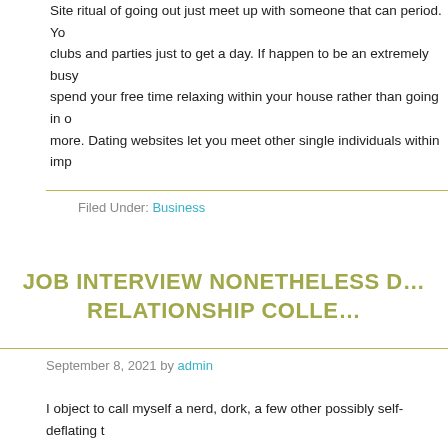Site ritual of going out just meet up with someone that can period. You go to clubs and parties just to get a day. If happen to be an extremely busy, spend your free time relaxing within your house rather than going in once more. Dating websites let you meet other single individuals within imp…
Filed Under: Business
JOB INTERVIEW NONETHELESS D… RELATIONSHIP COLLE…
September 8, 2021 by admin
I object to call myself a nerd, dork, a few other possibly self-deflating … comics and super heroes, so let me use that as manage dating sites this article about dating and finding love. Comic fans will find love an…
I guaranty that a person don't ask the actual best questions, your odd… exponentially. Dating websites offer multiple choice questions for com… didn't like to run on the beach or share some wine the particular fire o… Virtually useless suggestions.
The third best starting point meet women is at community or family th… events or fundraisers then do your own 됩니다 favor and attend only. Ch…